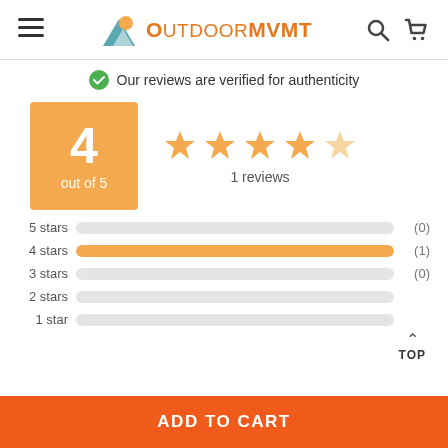OutdoorMVMT
Our reviews are verified for authenticity
[Figure (infographic): Rating score box showing 4 out of 5 with 4 orange stars and 1 partial star, and '1 reviews' label]
[Figure (bar-chart): Star rating breakdown]
ADD TO CART